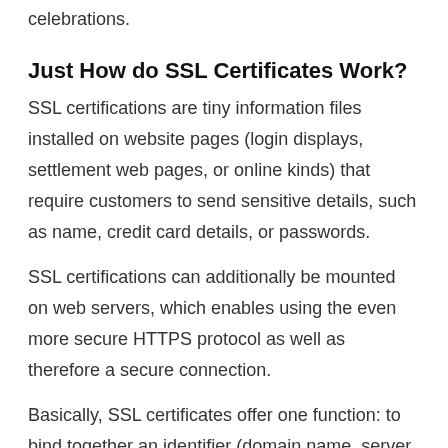celebrations.
Just How do SSL Certificates Work?
SSL certifications are tiny information files installed on website pages (login displays, settlement web pages, or online kinds) that require customers to send sensitive details, such as name, credit card details, or passwords.
SSL certifications can additionally be mounted on web servers, which enables using the even more secure HTTPS protocol as well as therefore a secure connection.
Basically, SSL certificates offer one function: to bind together an identifier (domain name, server name, or hostname) and also the identification of an organization.
The Bluehost knowledgebase states: “We do provide complimentary back-ups for our consumers. They are developed